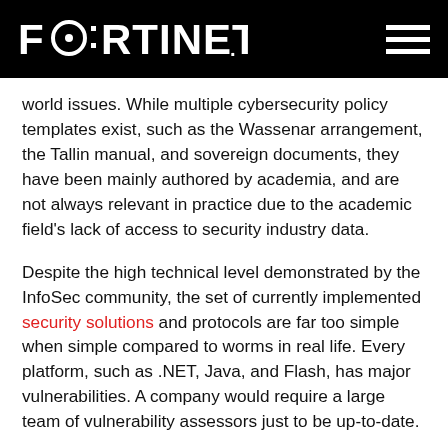FORTINET
world issues. While multiple cybersecurity policy templates exist, such as the Wassenar arrangement, the Tallin manual, and sovereign documents, they have been mainly authored by academia, and are not always relevant in practice due to the academic field's lack of access to security industry data.
Despite the high technical level demonstrated by the InfoSec community, the set of currently implemented security solutions and protocols are far too simple when simple compared to worms in real life. Every platform, such as .NET, Java, and Flash, has major vulnerabilities. A company would require a large team of vulnerability assessors just to be up-to-date.
At the same time, the number and class of bugs is so